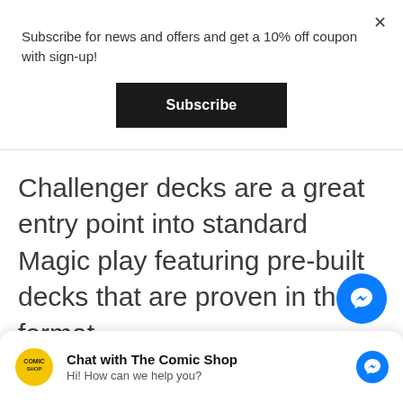Subscribe for news and offers and get a 10% off coupon with sign-up!
[Figure (screenshot): Black Subscribe button]
Challenger decks are a great entry point into standard Magic play featuring pre-built decks that are proven in the format.
[Figure (illustration): Blue Facebook Messenger floating bubble icon]
[Figure (infographic): Chat with The Comic Shop messenger bar at bottom: yellow comic shop logo, bold title 'Chat with The Comic Shop', subtitle 'Hi! How can we help you?', blue messenger icon on right]